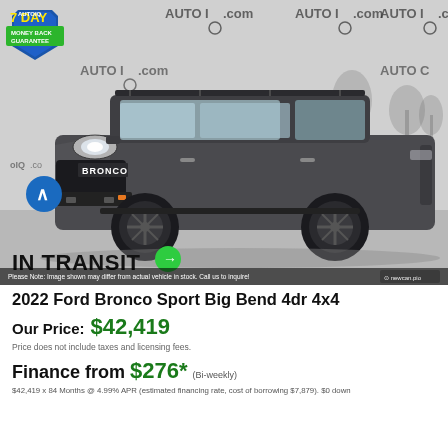[Figure (photo): Gray 2022 Ford Bronco Sport Big Bend 4x4 SUV parked on pavement, photographed against a watermarked AutoIQ.com dealer background. A '7 Day Money Back Guarantee' badge appears top-left. An 'IN TRANSIT' label with green arrow appears on the bottom of the image. A blue navigation arrow is on the left side. Disclaimer text at the bottom reads: 'Please Note: Image shown may differ from actual vehicle in stock. Call us to inquire!']
2022 Ford Bronco Sport Big Bend 4dr 4x4
Our Price: $42,419
Price does not include taxes and licensing fees.
Finance from $276* (Bi-weekly)
$42,419 x 84 Months @ 4.99% APR (estimated financing rate, cost of borrowing $7,879). $0 down